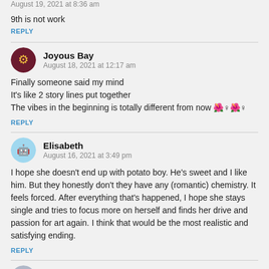August 19, 2021 at 8:36 am
9th is not work
REPLY
Joyous Bay
August 18, 2021 at 12:17 am
Finally someone said my mind
It's like 2 story lines put together
The vibes in the beginning is totally different from now 🌺♀🌺♀
REPLY
Elisabeth
August 16, 2021 at 3:49 pm
I hope she doesn't end up with potato boy. He's sweet and I like him. But they honestly don't they have any (romantic) chemistry. It feels forced. After everything that's happened, I hope she stays single and tries to focus more on herself and finds her drive and passion for art again. I think that would be the most realistic and satisfying ending.
REPLY
Lenz